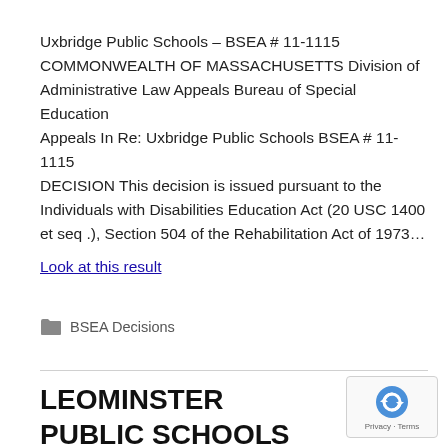Uxbridge Public Schools – BSEA # 11-1115 COMMONWEALTH OF MASSACHUSETTS Division of Administrative Law Appeals Bureau of Special Education Appeals In Re: Uxbridge Public Schools BSEA # 11-1115 DECISION This decision is issued pursuant to the Individuals with Disabilities Education Act (20 USC 1400 et seq .), Section 504 of the Rehabilitation Act of 1973…
Look at this result
BSEA Decisions
LEOMINSTER PUBLIC SCHOOLS BSEA # 11-1190